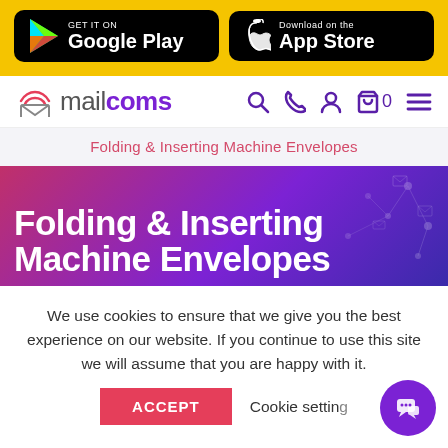[Figure (screenshot): App store badges: Google Play and Apple App Store on yellow background]
mailcoms — search, phone, account, cart (0), menu icons
Folding & Inserting Machine Envelopes
Folding & Inserting Machine Envelopes
We use cookies to ensure that we give you the best experience on our website. If you continue to use this site we will assume that you are happy with it.    Cookie settings
ACCEPT